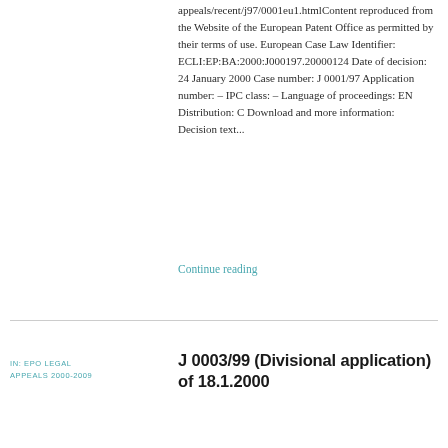appeals/recent/j97/0001eu1.htmlContent reproduced from the Website of the European Patent Office as permitted by their terms of use. European Case Law Identifier: ECLI:EP:BA:2000:J000197.20000124 Date of decision: 24 January 2000 Case number: J 0001/97 Application number: – IPC class: – Language of proceedings: EN Distribution: C Download and more information: Decision text...
Continue reading
IN: EPO LEGAL APPEALS 2000-2009
J 0003/99 (Divisional application) of 18.1.2000